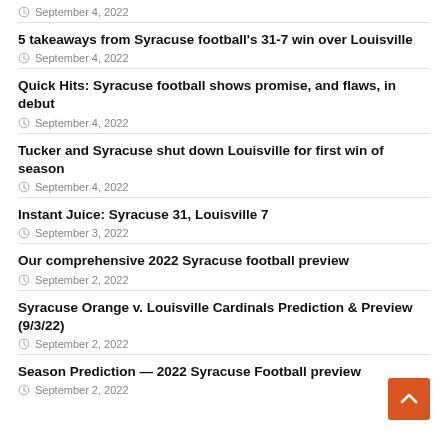September 4, 2022
5 takeaways from Syracuse football's 31-7 win over Louisville
September 4, 2022
Quick Hits: Syracuse football shows promise, and flaws, in debut
September 4, 2022
Tucker and Syracuse shut down Louisville for first win of season
September 4, 2022
Instant Juice: Syracuse 31, Louisville 7
September 3, 2022
Our comprehensive 2022 Syracuse football preview
September 2, 2022
Syracuse Orange v. Louisville Cardinals Prediction & Preview (9/3/22)
September 2, 2022
Season Prediction — 2022 Syracuse Football preview
September 2, 2022